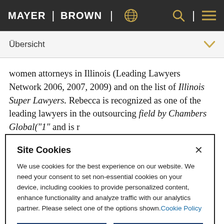MAYER | BROWN
Übersicht
women attorneys in Illinois (Leading Lawyers Network 2006, 2007, 2009) and on the list of Illinois Super Lawyers. Rebecca is recognized as one of the leading lawyers in the outsourcing field by Chambers Global("1" redacted)
Site Cookies
We use cookies for the best experience on our website. We need your consent to set non-essential cookies on your device, including cookies to provide personalized content, enhance functionality and analyze traffic with our analytics partner. Please select one of the options shown. Cookie Policy
Accept All
Reject All